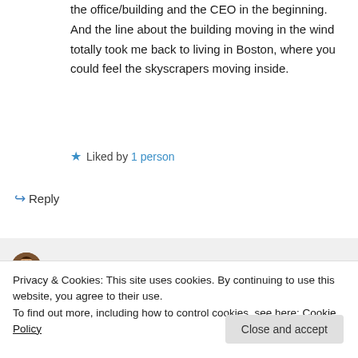the office/building and the CEO in the beginning. And the line about the building moving in the wind totally took me back to living in Boston, where you could feel the skyscrapers moving inside.
★ Liked by 1 person
↪ Reply
Lea Bronsen on April 22, 2017 at 19:45
Privacy & Cookies: This site uses cookies. By continuing to use this website, you agree to their use.
To find out more, including how to control cookies, see here: Cookie Policy